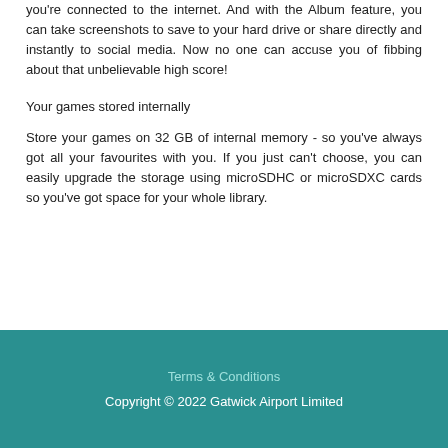you're connected to the internet. And with the Album feature, you can take screenshots to save to your hard drive or share directly and instantly to social media. Now no one can accuse you of fibbing about that unbelievable high score!
Your games stored internally
Store your games on 32 GB of internal memory - so you've always got all your favourites with you. If you just can't choose, you can easily upgrade the storage using microSDHC or microSDXC cards so you've got space for your whole library.
Terms & Conditions
Copyright © 2022 Gatwick Airport Limited